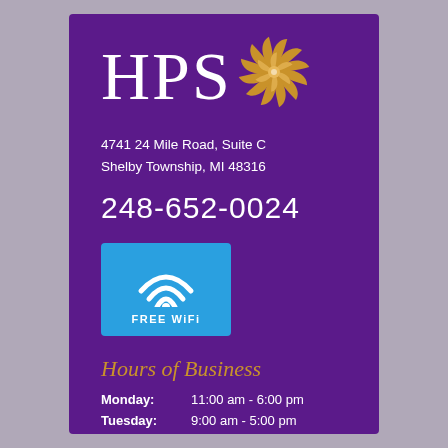[Figure (logo): HPS logo with stylized sunflower/pinwheel in gold on purple background]
4741 24 Mile Road, Suite C
Shelby Township, MI 48316
248-652-0024
[Figure (infographic): Blue WiFi icon box with FREE WiFi text]
Hours of Business
Monday:   11:00 am - 6:00 pm
Tuesday:   9:00 am - 5:00 pm